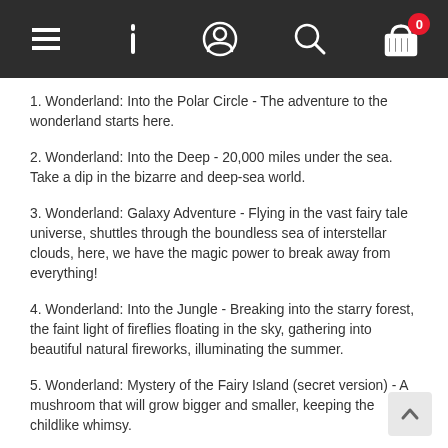[Figure (screenshot): Mobile app navigation bar with menu, info, user, search, and cart (badge: 0) icons on dark background]
1. Wonderland: Into the Polar Circle - The adventure to the wonderland starts here.
2. Wonderland: Into the Deep - 20,000 miles under the sea. Take a dip in the bizarre and deep-sea world.
3. Wonderland: Galaxy Adventure - Flying in the vast fairy tale universe, shuttles through the boundless sea of interstellar clouds, here, we have the magic power to break away from everything!
4. Wonderland: Into the Jungle - Breaking into the starry forest, the faint light of fireflies floating in the sky, gathering into beautiful natural fireworks, illuminating the summer.
5. Wonderland: Mystery of the Fairy Island (secret version) - A mushroom that will grow bigger and smaller, keeping the childlike whimsy.
With a lot of beautiful and cute hand-painted artworks, it tells interesting things during the adventure of Ari and his partners in